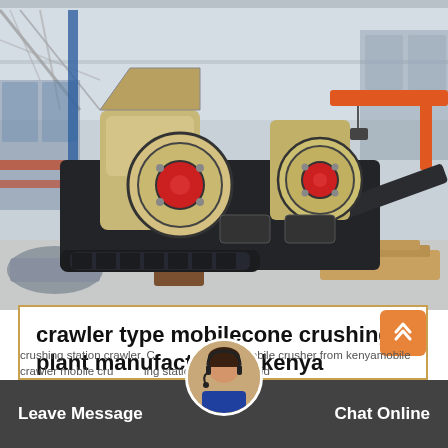[Figure (photo): Industrial interior showing a large crawler-type mobile cone crushing plant with black chassis, beige/cream crushers with red wheel accents, on tracks, inside a large factory/warehouse with steel structure roof and orange overhead crane]
crawler type mobilecone crushing plant manufacturerin kenya
crushing station crawler. One mobile crusher from kenyamobile crawler mobile crushing station in kenya kefid
Leave Message   Chat Online